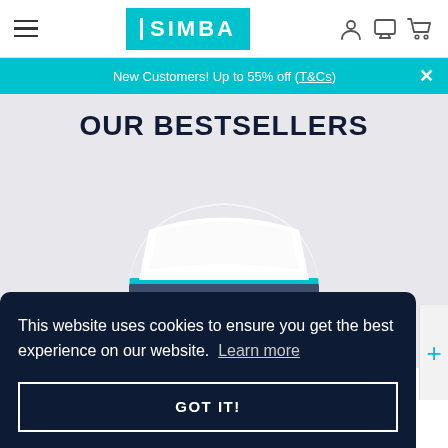SIMBA – Navigation bar with hamburger menu, SIMBA logo, and icons for account, chat, and cart
New Customers! Up to 55% off (T&Cs) ×
OUR BESTSELLERS
[Figure (photo): Simba mattress product photo – white top surface with dark navy/slate base and teal accent stripe, Simba logo on the side, displayed on a white platform]
This website uses cookies to ensure you get the best experience on our website. Learn more
GOT IT!